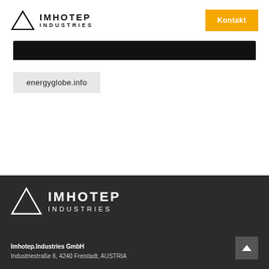[Figure (logo): Imhotep Industries logo with triangle icon in header]
[Figure (other): Yellow Kontakt button in header]
[Figure (other): Black navigation bar]
energyglobe.info
[Figure (logo): Imhotep Industries white logo in dark footer]
Imhotep.Industries GmbH
Industriestraße 6, 4240 Freistadt, AUSTRIA